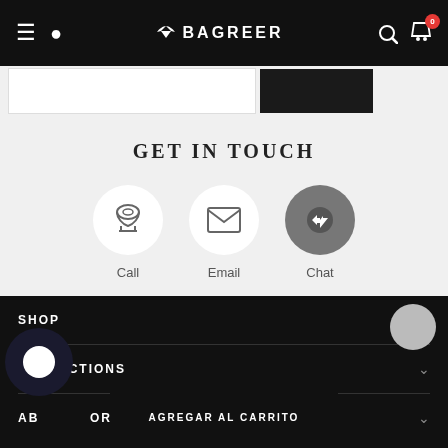BAGREER
GET IN TOUCH
[Figure (infographic): Three contact icons in circles: Call (telephone icon), Email (envelope icon), Chat (messenger icon)]
SHOP
COLLECTIONS
ABOUT STORE
AGREGAR AL CARRITO